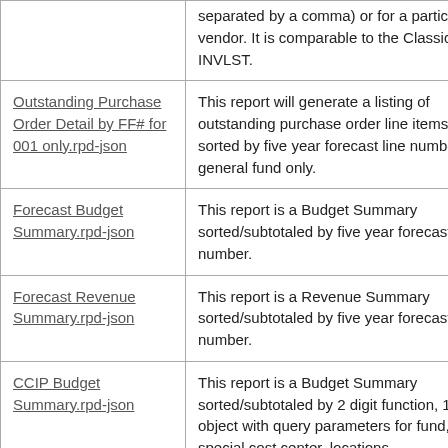| Report Name | Description |
| --- | --- |
|  | separated by a comma) or for a particular vendor. It is comparable to the Classic INVLST. |
| Outstanding Purchase Order Detail by FF# for 001 only.rpd-json | This report will generate a listing of outstanding purchase order line items sorted by five year forecast line number for general fund only. |
| Forecast Budget Summary.rpd-json | This report is a Budget Summary sorted/subtotaled by five year forecast line number. |
| Forecast Revenue Summary.rpd-json | This report is a Revenue Summary sorted/subtotaled by five year forecast line number. |
| CCIP Budget Summary.rpd-json | This report is a Budget Summary sorted/subtotaled by 2 digit function, 1 digit object with query parameters for fund, special cost center, locations... |